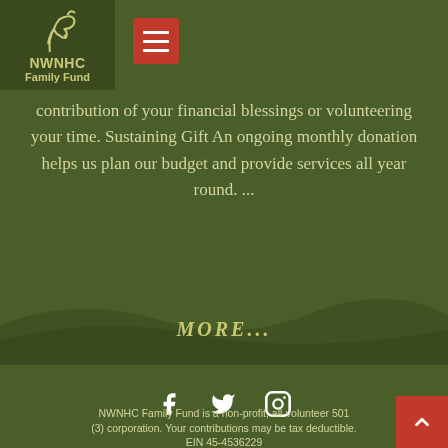[Figure (logo): NWNHC Family Fund logo with horse silhouette on dark green background]
contribution of your financial blessings or volunteering your time. Sustaining Gift An ongoing monthly donation helps us plan our budget and provide services all year round. ...
MORE...
[Figure (other): Social media icons: Facebook, Twitter, Instagram]
NWNHC Family Fund is a non-profit, all-volunteer 501 (3) corporation. Your contributions may be tax deductible. EIN 45-4536229